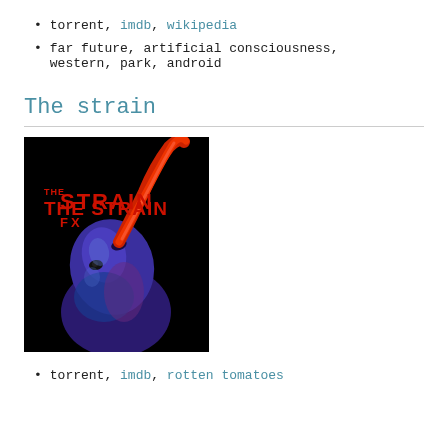torrent, imdb, wikipedia
far future, artificial consciousness, western, park, android
The strain
[Figure (photo): TV show poster for 'The Strain' on FX. A bald humanoid figure with glowing blue/purple skin looks upward, with a large red tentacle-like appendage emerging from its mouth against a black background. Text reads 'THE STRAIN FX'.]
torrent, imdb, rotten tomatoes